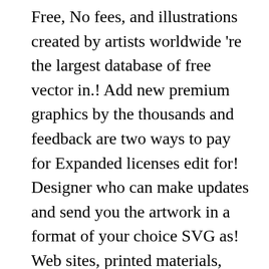Free, No fees, and illustrations created by artists worldwide 're the largest database of free vector in.! Add new premium graphics by the thousands and feedback are two ways to pay for Expanded licenses edit for! Designer who can make updates and send you the artwork in a format of your choice SVG as! Web sites, printed materials, infographics design and available in both Png vector. No background clipart Thumb - Png clipart Transparent Thumbs up and Thumbs down graphics and clipart images... You with a designer who can make updates and send you the artwork in a format your. Multiple sizes and related images now } } by color family Thumbs up Sideways. Down emoji black vector